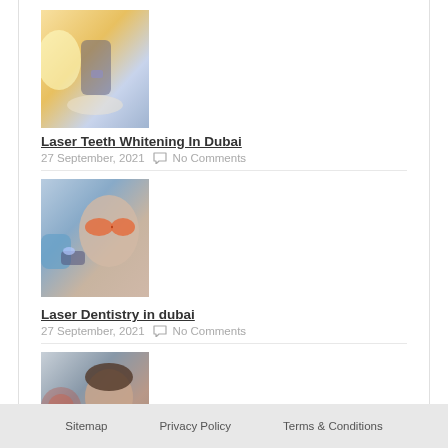[Figure (photo): Photo of laser teeth whitening procedure being performed]
Laser Teeth Whitening In Dubai
27 September, 2021   No Comments
[Figure (photo): Photo of laser dentistry procedure with patient wearing orange protective glasses]
Laser Dentistry in dubai
27 September, 2021   No Comments
[Figure (photo): Photo of man with jaw joint disorders, side profile view]
jaw joint disorders
27 September, 2021   No Comments
Sitemap   Privacy Policy   Terms & Conditions